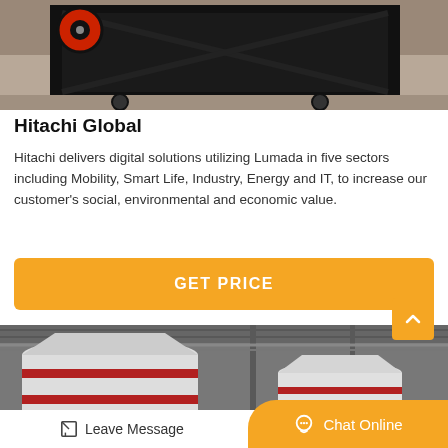[Figure (photo): Industrial machinery — heavy black metal frame structure with red wheel/pulley, photographed in a factory/warehouse setting]
Hitachi Global
Hitachi delivers digital solutions utilizing Lumada in five sectors including Mobility, Smart Life, Industry, Energy and IT, to increase our customer's social, environmental and economic value.
[Figure (other): GET PRICE button — orange/yellow rounded rectangle with white bold uppercase text]
[Figure (photo): Industrial cylindrical white grinding mill machines with red stripe bands, photographed inside a large industrial hall]
Leave Message
Chat Online